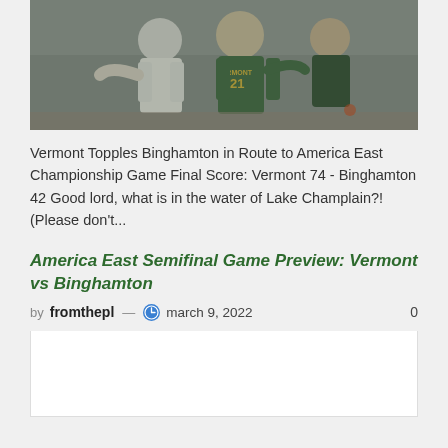[Figure (photo): Basketball game photo showing Vermont player wearing green jersey #21 battling with opposing player in white uniform]
Vermont Topples Binghamton in Route to America East Championship Game Final Score: Vermont 74 - Binghamton 42 Good lord, what is in the water of Lake Champlain?! (Please don't...
America East Semifinal Game Preview: Vermont vs Binghamton
by fromthepl — march 9, 2022  0